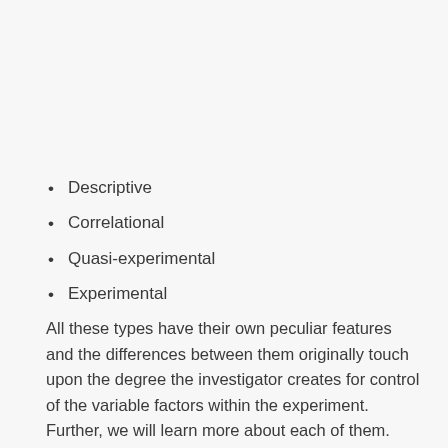Descriptive
Correlational
Quasi-experimental
Experimental
All these types have their own peculiar features and the differences between them originally touch upon the degree the investigator creates for control of the variable factors within the experiment. Further, we will learn more about each of them.